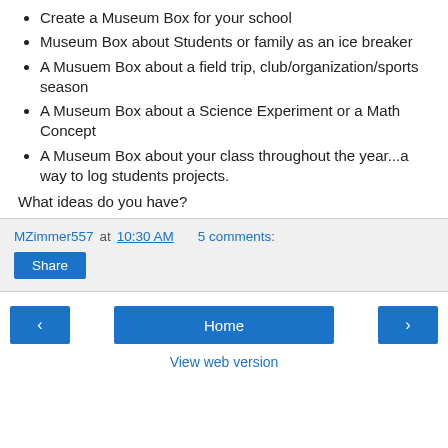Create a Museum Box for your school
Museum Box about Students or family as an ice breaker
A Musuem Box about a field trip, club/organization/sports season
A Museum Box about a Science Experiment or a Math Concept
A Museum Box about your class throughout the year...a way to log students projects.
What ideas do you have?
MZimmer557 at 10:30 AM   5 comments:
Share
View web version